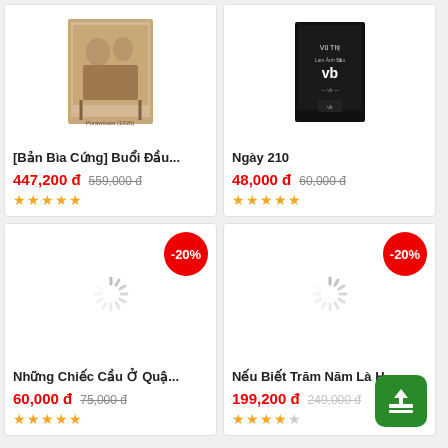[Figure (photo): Book product card: [Bản Bìa Cứng] Buổi Đầu... with sepia photo book cover, price 447,200 đ (original 559,000 đ), 5 stars]
[Figure (photo): Book product card: Ngày 210 with dark book cover, price 48,000 đ (original 60,000 đ), 4.5 stars]
[Figure (photo): Book product card: Những Chiếc Cầu Ở Quậ... with -20% badge, loading spinner, price 60,000 đ (original 75,000 đ), 5 stars]
[Figure (photo): Book product card: Nếu Biết Trăm Năm Là H... with -20% badge, loading spinner, price 199,200 đ (original 249,000 đ), 4 stars]